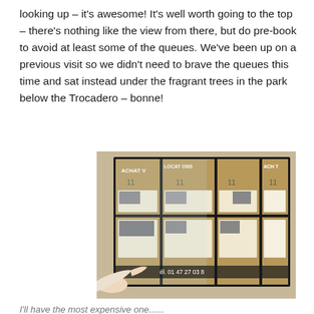looking up – it's awesome! It's well worth going to the top – there's nothing like the view from there, but do pre-book to avoid at least some of the queues. We've been up on a previous visit so we didn't need to brave the queues this time and sat instead under the fragrant trees in the park below the Trocadero – bonne!
[Figure (photo): A person's hand pointing at a French real estate agency window display board showing property listings with photos and text. The board has sections labeled ACHAT, VENTE, LOCATIONS, ACHAT. A phone number 'él. 01 47 27 03 8' is visible at the bottom.]
I'll have the most expensive one......